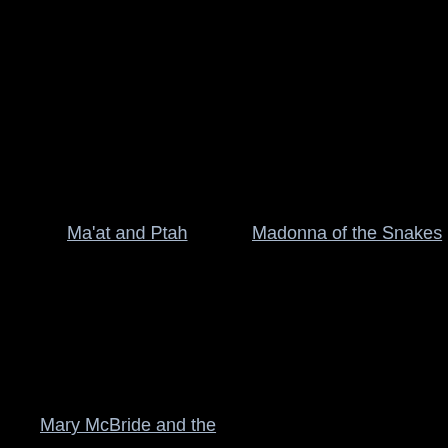Ma'at and Ptah
Madonna of the Snakes
Mary McBride and the